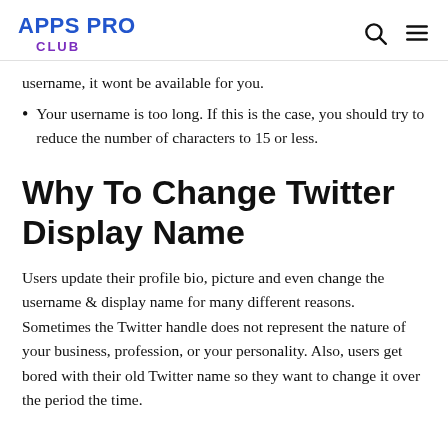APPS PRO CLUB
username, it wont be available for you.
Your username is too long. If this is the case, you should try to reduce the number of characters to 15 or less.
Why To Change Twitter Display Name
Users update their profile bio, picture and even change the username & display name for many different reasons. Sometimes the Twitter handle does not represent the nature of your business, profession, or your personality. Also, users get bored with their old Twitter name so they want to change it over the period the time.